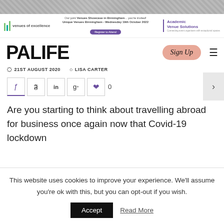[Figure (photo): Top banner image with diagonal pattern/texture in grey tones]
[Figure (logo): Venues of Excellence logo with coloured vertical bars and text]
Our joint Venues Showcase in Birmingham... you're invited! Unique Venues Birmingham - Wednesday 19th October 2022
Register to Attend
[Figure (logo): Academic Venue Solutions logo in purple]
PALIFE
Sign Up
21ST AUGUST 2020   LISA CARTER
Are you starting to think about travelling abroad for business once again now that Covid-19 lockdown
This website uses cookies to improve your experience. We'll assume you're ok with this, but you can opt-out if you wish.
Accept
Read More